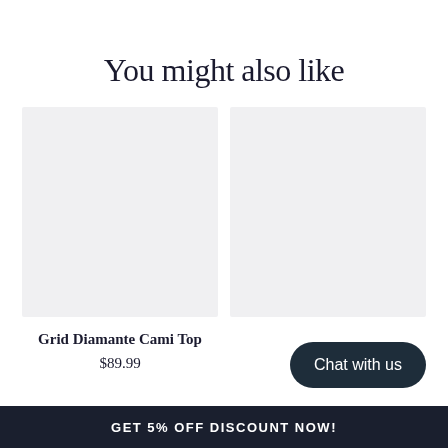You might also like
[Figure (photo): Product image placeholder for Grid Diamante Cami Top (light gray rectangle)]
Grid Diamante Cami Top
$89.99
[Figure (photo): Second product image placeholder (light gray rectangle)]
Chat with us
GET 5% OFF DISCOUNT NOW!